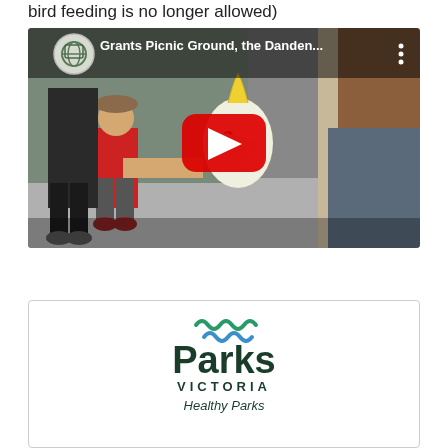bird feeding is no longer allowed)
[Figure (screenshot): YouTube video thumbnail showing Grants Picnic Ground, the Danden... with people feeding a cockatoo bird. Red play button overlay in center. YouTube channel icon and title in top bar.]
[Figure (logo): Parks Victoria logo with wave icons in green and blue and text 'Parks Victoria' with tagline 'Healthy Parks']